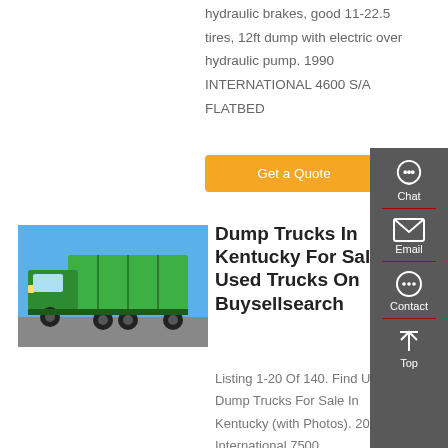hydraulic brakes, good 11-22.5 tires, 12ft dump with electric over hydraulic pump. 1990 INTERNATIONAL 4600 S/A FLATBED
[Figure (other): Orange 'Get a Quote' button]
[Figure (photo): Green heavy-duty dump truck parked on pavement against blue sky background]
Dump Trucks In Kentucky For Sale Used Trucks On Buysellsearch
Listing 1-20 Of 140. Find Used Dump Trucks For Sale In Kentucky (with Photos). 2007 International 7500.